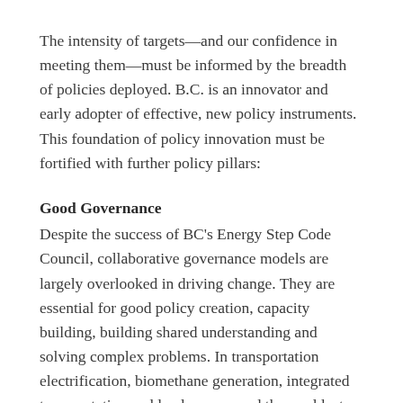The intensity of targets—and our confidence in meeting them—must be informed by the breadth of policies deployed. B.C. is an innovator and early adopter of effective, new policy instruments. This foundation of policy innovation must be fortified with further policy pillars:
Good Governance
Despite the success of BC's Energy Step Code Council, collaborative governance models are largely overlooked in driving change. They are essential for good policy creation, capacity building, building shared understanding and solving complex problems. In transportation electrification, biomethane generation, integrated transportation and land use, around the world, step changes in energy and emission activity have been driven by collaborative governance.